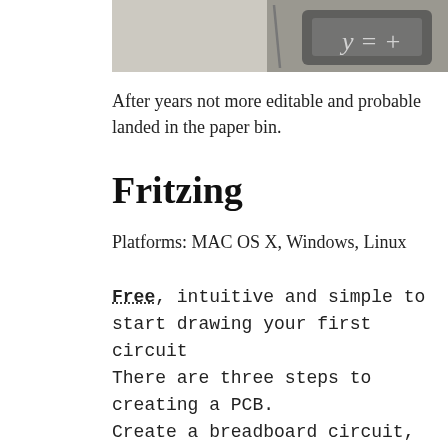[Figure (photo): Partial photo showing handwritten math notation 'y = +' on paper with a dark object/calculator visible]
After years not more editable and probable landed in the paper bin.
Fritzing
Platforms: MAC OS X, Windows, Linux
Free, intuitive and simple to start drawing your first circuit
There are three steps to creating a PCB.
Create a breadboard circuit, the second is to turn that into a schematic,
and the last is turning that schematic into a board: